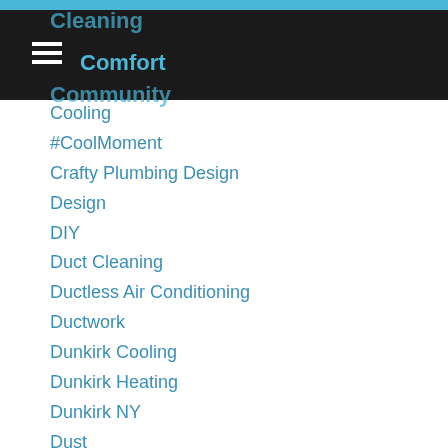Cleaning / Comfort / Community
Cooling
#CoolMoment
Crafty Plumbing Design
Design
DIY
Duct Cleaning
Ductless Air Conditioning
Ductwork
Dunkirk Cooling
Dunkirk Heating
Dunkirk NY
Dust
Dust Mites
Emergency Hours
Energy Efficiency
Energy Efficient Home